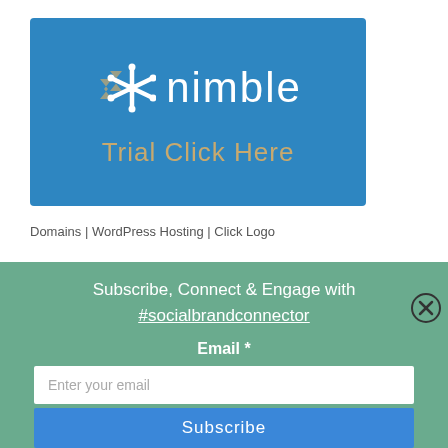[Figure (logo): Nimble CRM banner with logo (asterisk icon and wordmark 'nimble') on blue background with text 'Trial Click Here' in gold/tan color]
Domains | WordPress Hosting | Click Logo
Subscribe, Connect & Engage with
#socialbrandconnector
Email *
Enter your email
Subscribe